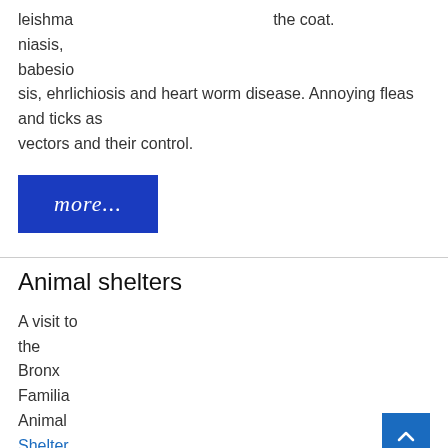leishma
niasis,
babesio
sis, ehrlichiosis and heart worm disease. Annoying fleas and ticks as vectors and their control.
the coat.
[Figure (other): Blue button with italic white text reading 'more...']
Animal shelters
A visit to
the
Bronx
Familia
Animal
Shelter